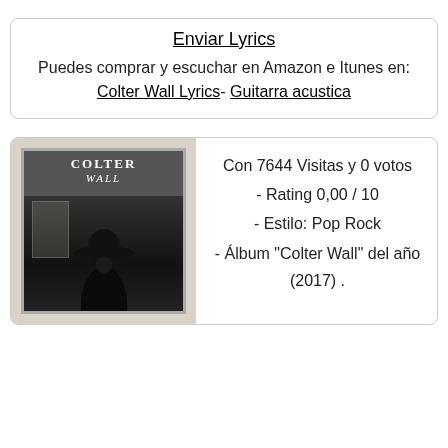Enviar Lyrics
Puedes comprar y escuchar en Amazon e Itunes en: Colter Wall Lyrics- Guitarra acustica
[Figure (photo): Album cover of Colter Wall - black and white photo of a person wearing a wide-brim hat standing near a window, with the text COLTER Wall at the top]
Con 7644 Visitas y 0 votos - Rating 0,00 / 10 - Estilo: Pop Rock - Álbum "Colter Wall" del año (2017) .